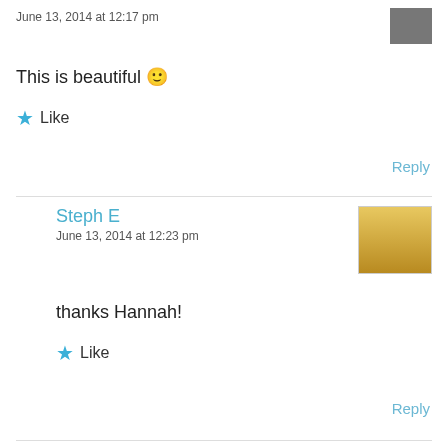June 13, 2014 at 12:17 pm
This is beautiful 🙂
Like
Reply
Steph E
June 13, 2014 at 12:23 pm
thanks Hannah!
Like
Reply